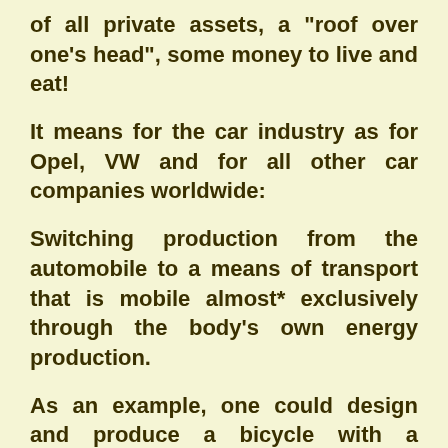of all private assets, a "roof over one's head", some money to live and eat!
It means for the car industry as for Opel, VW and for all other car companies worldwide:
Switching production from the automobile to a means of transport that is mobile almost* exclusively through the body's own energy production.
As an example, one could design and produce a bicycle with a dynamo and a registered (controlled disposal) small battery connected to a small electric motor, or provide rain protection for (a bike) the means of transport and much more.